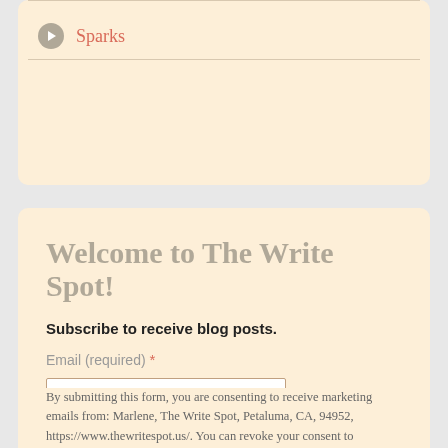Sparks
Welcome to The Write Spot!
Subscribe to receive blog posts.
Email (required) *
Sign up
By submitting this form, you are consenting to receive marketing emails from: Marlene, The Write Spot, Petaluma, CA, 94952, https://www.thewritespot.us/. You can revoke your consent to